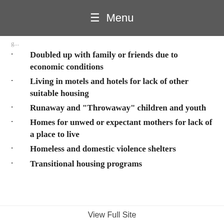Menu
Doubled up with family or friends due to economic conditions
Living in motels and hotels for lack of other suitable housing
Runaway and "Throwaway" children and youth
Homes for unwed or expectant mothers for lack of a place to live
Homeless and domestic violence shelters
Transitional housing programs
View Full Site